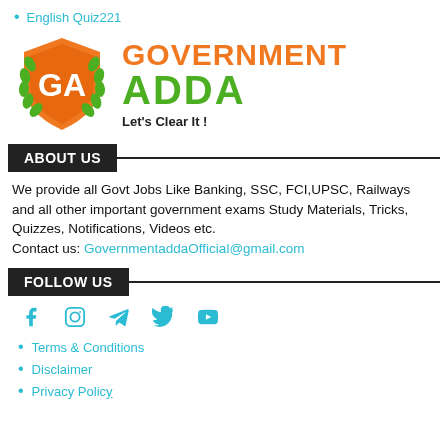English Quiz221
[Figure (logo): Government Adda logo: orange shield with 'GA' in white, green laurel wreath, orange text 'GOVERNMENT', green text 'ADDA', tagline 'Let's Clear It!']
ABOUT US
We provide all Govt Jobs Like Banking, SSC, FCI,UPSC, Railways and all other important government exams Study Materials, Tricks, Quizzes, Notifications, Videos etc.
Contact us: GovernmentaddaOfficial@gmail.com
FOLLOW US
[Figure (infographic): Social media icons row: Facebook, Instagram, Telegram, Twitter, YouTube — all in cyan/teal color]
Terms & Conditions
Disclaimer
Privacy Policy